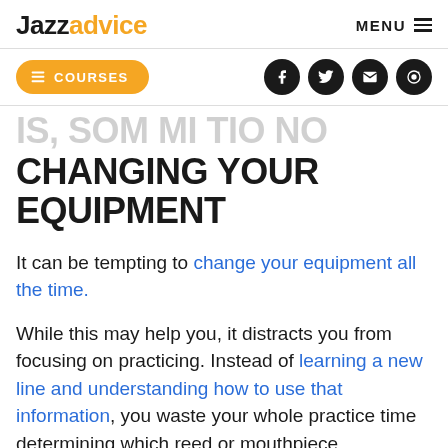Jazzadvice  MENU
COURSES
CHANGING YOUR EQUIPMENT
It can be tempting to change your equipment all the time.
While this may help you, it distracts you from focusing on practicing. Instead of learning a new line and understanding how to use that information, you waste your whole practice time determining which reed or mouthpiece